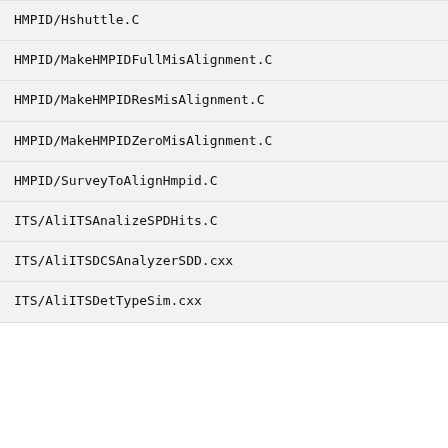HMPID/Hshuttle.C
HMPID/MakeHMPIDFullMisAlignment.C
HMPID/MakeHMPIDResMisAlignment.C
HMPID/MakeHMPIDZeroMisAlignment.C
HMPID/SurveyToAlignHmpid.C
ITS/AliITSAnalizeSPDHits.C
ITS/AliITSDCSAnalyzerSDD.cxx
ITS/AliITSDetTypeSim.cxx